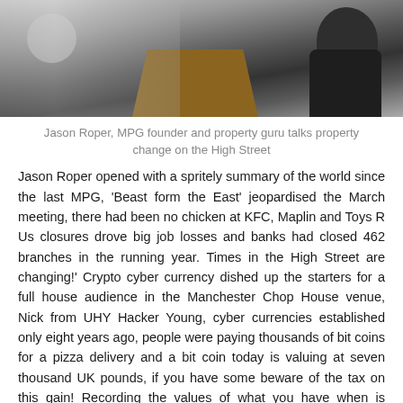[Figure (photo): Photo of a person (seen from behind/side) at a lectern or podium, dark background]
Jason Roper, MPG founder and property guru talks property change on the High Street
Jason Roper opened with a spritely summary of the world since the last MPG, ‘Beast form the East’ jeopardised the March meeting, there had been no chicken at KFC, Maplin and Toys R Us closures drove big job losses and banks had closed 462 branches in the running year. Times in the High Street are changing!’ Crypto cyber currency dished up the starters for a full house audience in the Manchester Chop House venue, Nick from UHY Hacker Young, cyber currencies established only eight years ago, people were paying thousands of bit coins for a pizza delivery and a bit coin today is valuing at seven thousand UK pounds, if you have some beware of the tax on this gain! Recording the values of what you have when is critical to the gain.
[Figure (photo): Partial photo at bottom showing a slide or document with the word 'Leading' visible in large text]